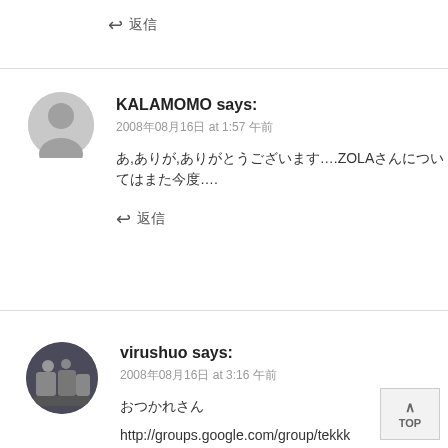↩ 返信
KALAMOMO says:
2008年08月16日 at 1:57 午前
あ,ありが,ありがとうございます….ZOLAさんについてはまた今度….
↩ 返信
virushuo says:
2008年08月16日 at 3:16 午前
おつかれさん
http://groups.google.com/group/tekkk